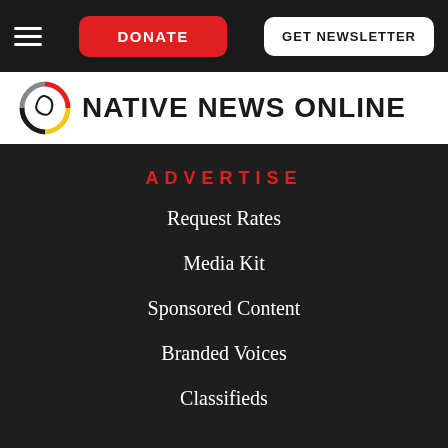DONATE  GET NEWSLETTER
[Figure (logo): Native News Online logo with circular feather/spiral emblem and bold text NATIVE NEWS ONLINE]
ADVERTISE
Request Rates
Media Kit
Sponsored Content
Branded Voices
Classifieds
ABOUT
About Us
Careers